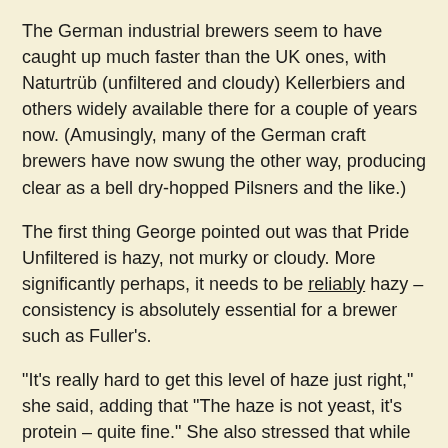The German industrial brewers seem to have caught up much faster than the UK ones, with Naturtrüb (unfiltered and cloudy) Kellerbiers and others widely available there for a couple of years now. (Amusingly, many of the German craft brewers have now swung the other way, producing clear as a bell dry-hopped Pilsners and the like.)
The first thing George pointed out was that Pride Unfiltered is hazy, not murky or cloudy. More significantly perhaps, it needs to be reliably hazy – consistency is absolutely essential for a brewer such as Fuller's.
“It’s really hard to get this level of haze just right,” she said, adding that “The haze is not yeast, it’s protein – quite fine.” She also stressed that while the basic recipe “is pretty much the same” as regular Pride, including Northdown and Challenger aroma hops, there are changes. Most notably that Unfiltered is also dry-hopped with Target.
Not too surprisingly, Unfiltered is very like regular Pride, but is drier and less malty-fruity, although that will in part be due